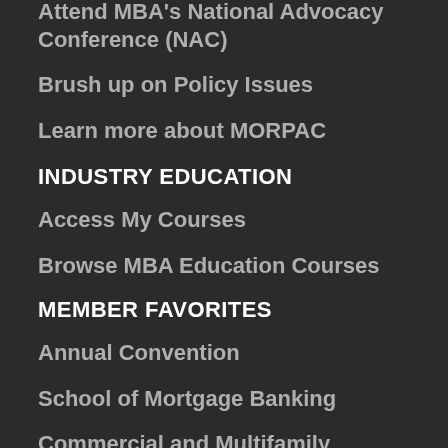Attend MBA's National Advocacy Conference (NAC)
Brush up on Policy Issues
Learn more about MORPAC
INDUSTRY EDUCATION
Access My Courses
Browse MBA Education Courses
MEMBER FAVORITES
Annual Convention
School of Mortgage Banking
Commercial and Multifamily Resources